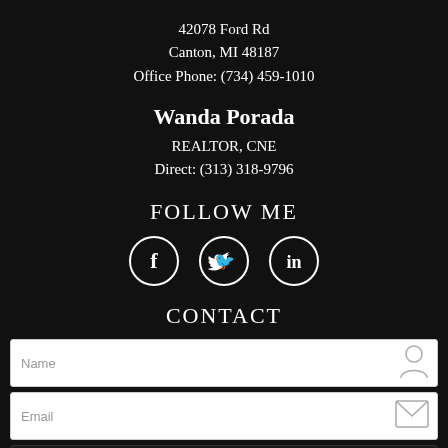42078 Ford Rd
Canton, MI 48187
Office Phone: (734) 459-1010
Wanda Porada
REALTOR, CNE
Direct: (313) 318-9796
FOLLOW ME
[Figure (infographic): Three social media icons in white circles: Facebook (f), Twitter (bird), LinkedIn (in)]
CONTACT
Name input field with person icon
Email input field with envelope icon
Message input field with pencil icon